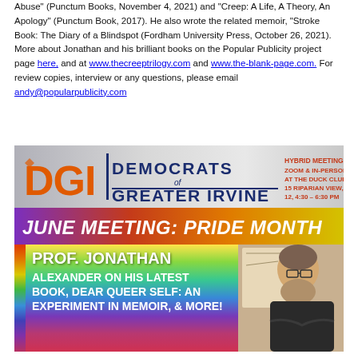Abuse" (Punctum Books, November 4, 2021) and "Creep: A Life, A Theory, An Apology" (Punctum Book, 2017). He also wrote the related memoir, “Stroke Book: The Diary of a Blindspot (Fordham University Press, October 26, 2021). More about Jonathan and his brilliant books on the Popular Publicity project page here, and at www.thecreeptrilogy.com and www.the-blank-page.com. For review copies, interview or any questions, please email andy@popularpublicity.com
[Figure (photo): Democrats of Greater Irvine event banner. Shows DGI logo (orange letters with navy text 'Democrats of Greater Irvine'), hybrid meeting details (Zoom & In-Person at The Duck Club, 15 Riparian View, June 12, 4:30-6:30 PM), June Meeting: Pride Month headline in italic orange text, and Prof. Jonathan Alexander speaking about his latest book Dear Queer Self: An Experiment in Memoir, & More! with a photo of a bearded man in glasses and dark jacket.]